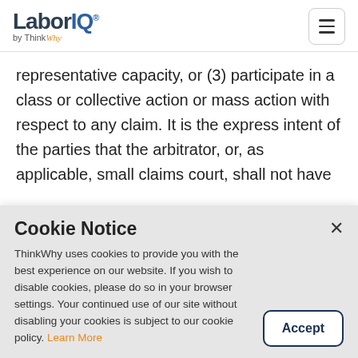LaborIQ by ThinkWhy
representative capacity, or (3) participate in a class or collective action or mass action with respect to any claim. It is the express intent of the parties that the arbitrator, or, as applicable, small claims court, shall not have
Cookie Notice
ThinkWhy uses cookies to provide you with the best experience on our website. If you wish to disable cookies, please do so in your browser settings. Your continued use of our site without disabling your cookies is subject to our cookie policy. Learn More